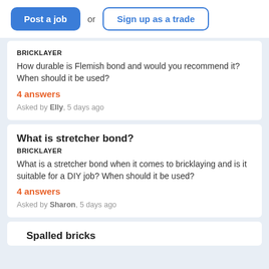[Figure (other): Top navigation bar with 'Post a job' blue button, 'or' text, and 'Sign up as a trade' outlined button]
BRICKLAYER
How durable is Flemish bond and would you recommend it? When should it be used?
4 answers
Asked by Elly, 5 days ago
What is stretcher bond?
BRICKLAYER
What is a stretcher bond when it comes to bricklaying and is it suitable for a DIY job? When should it be used?
4 answers
Asked by Sharon, 5 days ago
Spalled bricks